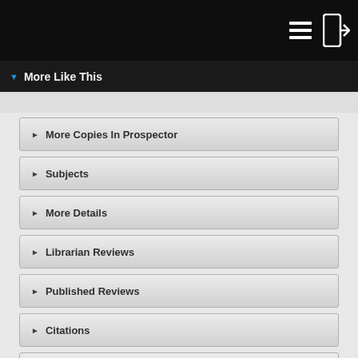More Like This
More Copies In Prospector
Subjects
More Details
Librarian Reviews
Published Reviews
Citations
Staff View
CONNECT WITH US  v. 2022.02.3